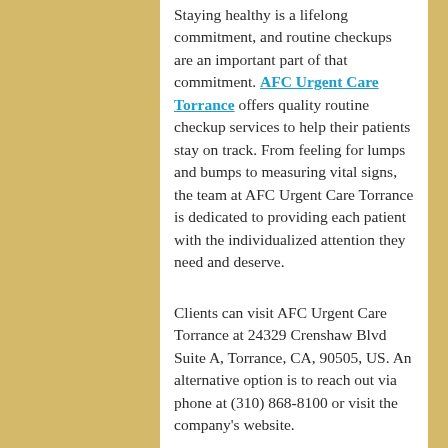Staying healthy is a lifelong commitment, and routine checkups are an important part of that commitment. AFC Urgent Care Torrance offers quality routine checkup services to help their patients stay on track. From feeling for lumps and bumps to measuring vital signs, the team at AFC Urgent Care Torrance is dedicated to providing each patient with the individualized attention they need and deserve.
Clients can visit AFC Urgent Care Torrance at 24329 Crenshaw Blvd Suite A, Torrance, CA, 90505, US. An alternative option is to reach out via phone at (310) 868-8100 or visit the company's website.